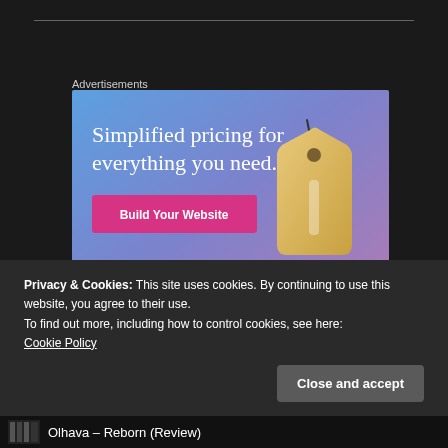Advertisements
[Figure (illustration): Advertisement banner with gradient blue-purple background. Large white serif text reads 'Simplified pricing for everything you need.' A pink/magenta button labeled 'Build Your Website' sits below the text. A 3D price tag illustration appears on the right side.]
Privacy & Cookies: This site uses cookies. By continuing to use this website, you agree to their use.
To find out more, including how to control cookies, see here:
Cookie Policy
Close and accept
Olhava – Reborn (Review)